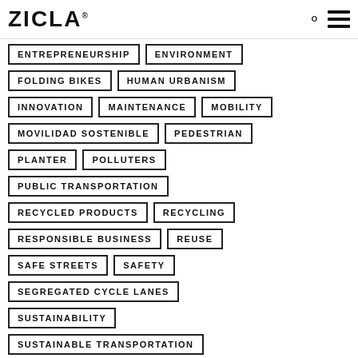ZICLA
ENTREPRENEURSHIP
ENVIRONMENT
FOLDING BIKES
HUMAN URBANISM
INNOVATION
MAINTENANCE
MOBILITY
MOVILIDAD SOSTENIBLE
PEDESTRIAN
PLANTER
POLLUTERS
PUBLIC TRANSPORTATION
RECYCLED PRODUCTS
RECYCLING
RESPONSIBLE BUSINESS
REUSE
SAFE STREETS
SAFETY
SEGREGATED CYCLE LANES
SUSTAINABILITY
SUSTAINABLE TRANSPORTATION
TEMPORARY BULBOUT
TRANSPORTATION
URBAN CYCLING
URBAN CYCLISM
URBAN SUSTAINABILITY